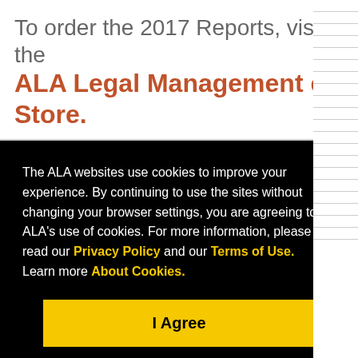To order the 2017 Reports, visit the ALA Legal Management e-Store.
The ALA websites use cookies to improve your experience. By continuing to use the sites without changing your browser settings, you are agreeing to ALA's use of cookies. For more information, please read our Privacy Policy and our Terms of Use. Learn more About Cookies.
I Agree